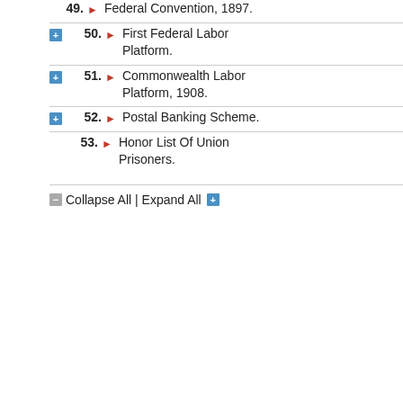49. Federal Convention, 1897.
50. First Federal Labor Platform.
51. Commonwealth Labor Platform, 1908.
52. Postal Banking Scheme.
53. Honor List Of Union Prisoners.
Collapse All | Expand All
"14. Legislation (including tar benefit Australian industries, enterprise, and to advance th this paragraph only, any mem bound by their joint determina proposal should be carried; (5 be approved by Parliament—
"15. Old Age Pensions on a b
"16. Quarantine legislation.
"17. Either party may at any ti
Those who joined the Labor p Mauger, and Storrer. These e
made a party of thirty-six in th seventeen in the Senate. The of the eleven being nobbled b his own foolish junction with P
The contrast between the Alli was much of secret caucus a simply to crush the Labor Pa